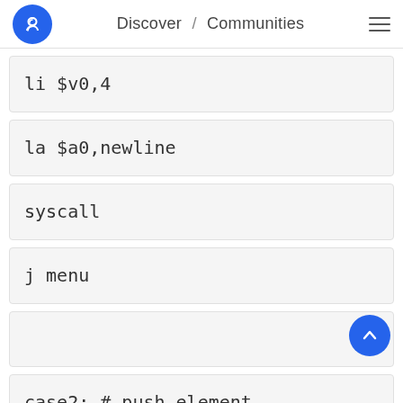Discover / Communities
li $v0,4
la $a0,newline
syscall
j menu
case2: # push element